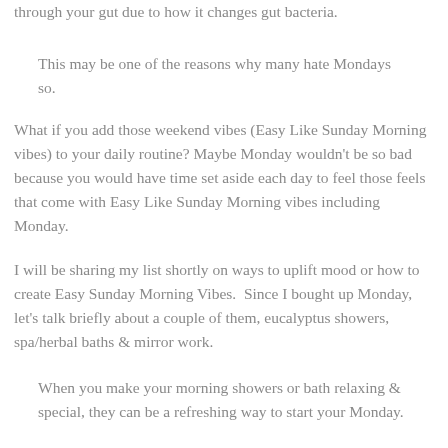through your gut due to how it changes gut bacteria.
This may be one of the reasons why many hate Mondays so.
What if you add those weekend vibes (Easy Like Sunday Morning vibes) to your daily routine? Maybe Monday wouldn't be so bad because you would have time set aside each day to feel those feels that come with Easy Like Sunday Morning vibes including Monday.
I will be sharing my list shortly on ways to uplift mood or how to create Easy Sunday Morning Vibes.  Since I bought up Monday, let's talk briefly about a couple of them, eucalyptus showers, spa/herbal baths & mirror work.
When you make your morning showers or bath relaxing & special, they can be a refreshing way to start your Monday.